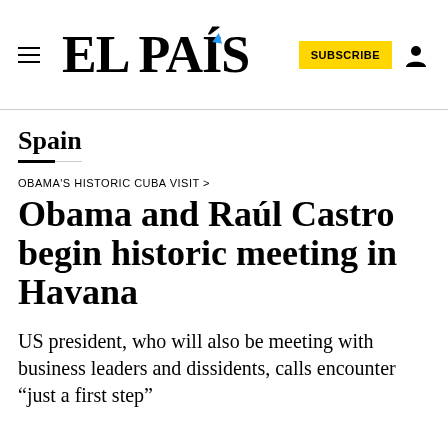EL PAÍS
Spain
OBAMA'S HISTORIC CUBA VISIT >
Obama and Raúl Castro begin historic meeting in Havana
US president, who will also be meeting with business leaders and dissidents, calls encounter “just a first step”